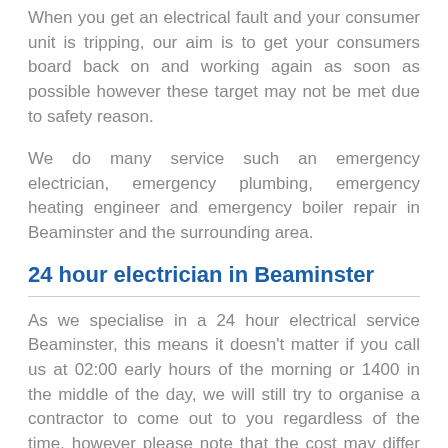When you get an electrical fault and your consumer unit is tripping, our aim is to get your consumers board back on and working again as soon as possible however these target may not be met due to safety reason.
We do many service such an emergency electrician, emergency plumbing, emergency heating engineer and emergency boiler repair in Beaminster and the surrounding area.
24 hour electrician in Beaminster
As we specialise in a 24 hour electrical service Beaminster, this means it doesn't matter if you call us at 02:00 early hours of the morning or 1400 in the middle of the day, we will still try to organise a contractor to come out to you regardless of the time, however please note that the cost may differ the time the contractor...